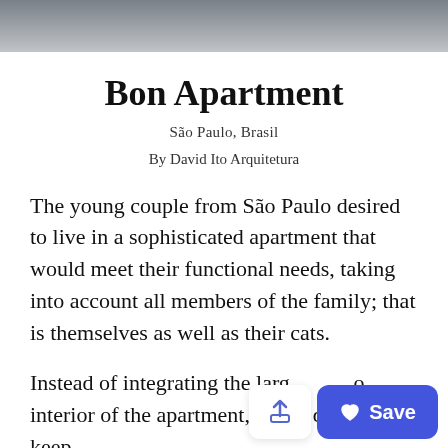[Figure (photo): Partial view of a sofa/couch in a living room, gray tones, cropped at the top of the page]
Bon Apartment
São Paulo, Brasil
By David Ito Arquitetura
The young couple from São Paulo desired to live in a sophisticated apartment that would meet their functional needs, taking into account all members of the family; that is themselves as well as their cats.
Instead of integrating the larg o interior of the apartment, it was decided to keep